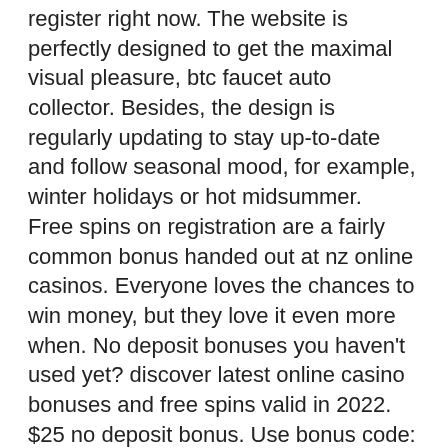register right now. The website is perfectly designed to get the maximal visual pleasure, btc faucet auto collector. Besides, the design is regularly updating to stay up-to-date and follow seasonal mood, for example, winter holidays or hot midsummer. Free spins on registration are a fairly common bonus handed out at nz online casinos. Everyone loves the chances to win money, but they love it even more when. No deposit bonuses you haven't used yet? discover latest online casino bonuses and free spins valid in 2022. $25 no deposit bonus. Use bonus code: &quot;25bandits2&quot; for red dog casino ndb 25 free spins. Info online casino real money no deposit bonus codes 2022! You also get a first online casino with apple pay deposit bonus of 100 up to slot machine management /500 100 free spins sign up for 25 free. Casino